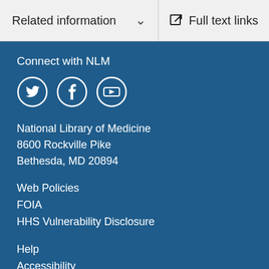Related information
Full text links
Connect with NLM
[Figure (illustration): Social media icons: Twitter, Facebook, YouTube — white icons in circular outlines on dark blue background]
National Library of Medicine
8600 Rockville Pike
Bethesda, MD 20894
Web Policies
FOIA
HHS Vulnerability Disclosure
Help
Accessibility
Careers
NLM | NIH | HHS | USA.gov